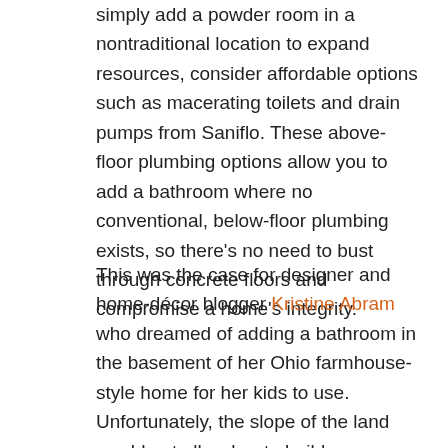simply add a powder room in a nontraditional location to expand resources, consider affordable options such as macerating toilets and drain pumps from Saniflo. These above-floor plumbing options allow you to add a bathroom where no conventional, below-floor plumbing exists, so there's no need to bust through concrete floors and compromise a home's integrity.
This was the case for designer and home-décor blogger Kristine Abram who dreamed of adding a bathroom in the basement of her Ohio farmhouse-style home for her kids to use. Unfortunately, the slope of the land would not allow her to build a conventional bathroom with below-floor drainage. She researched alternatives and found the Saniaccess 2: a 1/2-horsepower macerator pump system used to install a half bathroom (toilet and sink) up to 15 feet below the